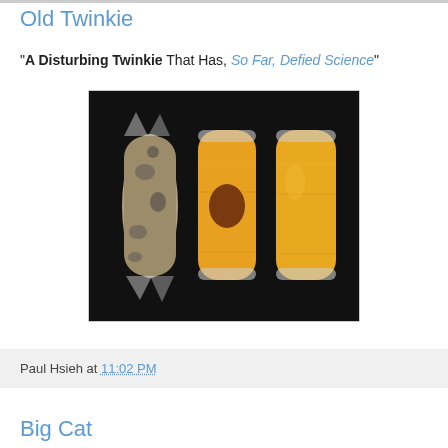Old Twinkie
"A Disturbing Twinkie That Has, So Far, Defied Science"
[Figure (photo): Photo of three Twinkie snack cakes on a black background: one unwrapped and moldy/deteriorated on the left, one wrapped with a brown spot in the middle, and one wrapped and seemingly intact on the right.]
Paul Hsieh at 11:02 PM
Big Cat